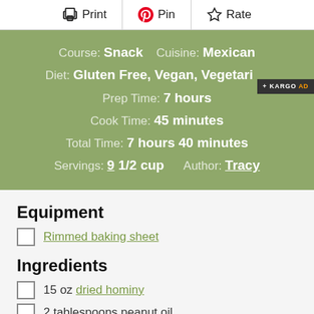Print | Pin | Rate
Course: Snack  Cuisine: Mexican  Diet: Gluten Free, Vegan, Vegetarian  Prep Time: 7 hours  Cook Time: 45 minutes  Total Time: 7 hours 40 minutes  Servings: 9 1/2 cup  Author: Tracy
Equipment
Rimmed baking sheet
Ingredients
15 oz dried hominy
2 tablespoons peanut oil